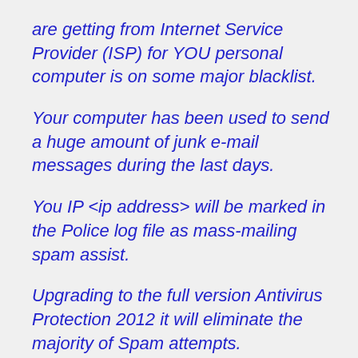are getting from Internet Service Provider (ISP) for YOU personal computer is on some major blacklist. Your computer has been used to send a huge amount of junk e-mail messages during the last days. You IP <ip address> will be marked in the Police log file as mass-mailing spam assist. Upgrading to the full version Antivirus Protection 2012 it will eliminate the majority of Spam attempts.
Antivirus Protection 2012
Your computer is being used as